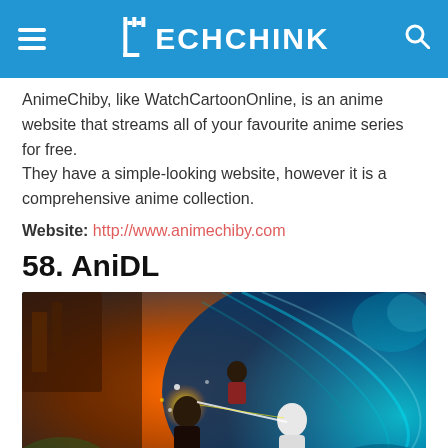TECHCHINK
AnimeChiby, like WatchCartoonOnline, is an anime website that streams all of your favourite anime series for free.
They have a simple-looking website, however it is a comprehensive anime collection.
Website: http://www.animechiby.com
58. AniDL
[Figure (photo): Anime illustration showing characters in a dramatic swirling scene with blue and orange colors]